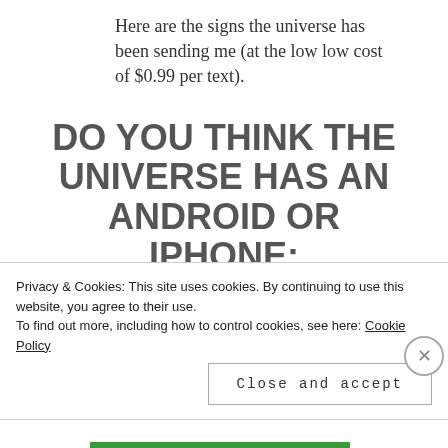Here are the signs the universe has been sending me (at the low low cost of $0.99 per text).
DO YOU THINK THE UNIVERSE HAS AN ANDROID OR IPHONE:
1). Zen Meditation: Our teacher (professor? Shaman? Medicine man? Witch?) told us a lot of mdeditation is not following every thought and
Privacy & Cookies: This site uses cookies. By continuing to use this website, you agree to their use. To find out more, including how to control cookies, see here: Cookie Policy
Close and accept